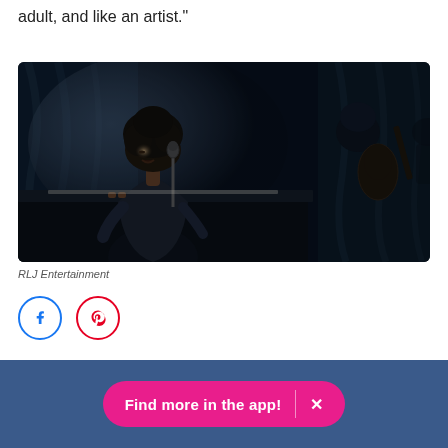adult, and like an artist."
[Figure (photo): A Black woman with an afro hairstyle performs at a piano, singing into a microphone on a dark stage. A guitarist is visible in the background. The scene is dramatically lit in dark bluish tones.]
RLJ Entertainment
[Figure (other): Social share icons: Facebook (blue circle outline) and Pinterest (red circle outline)]
Find more in the app!  X